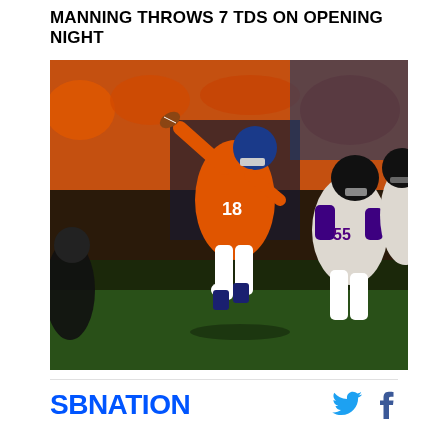MANNING THROWS 7 TDS ON OPENING NIGHT
[Figure (photo): Peyton Manning #18 of the Denver Broncos throwing a pass while being rushed by Baltimore Ravens defenders including #55, in an NFL game at Sports Authority Field. Manning is wearing an orange Broncos uniform and is in mid-throw motion.]
SBNATION